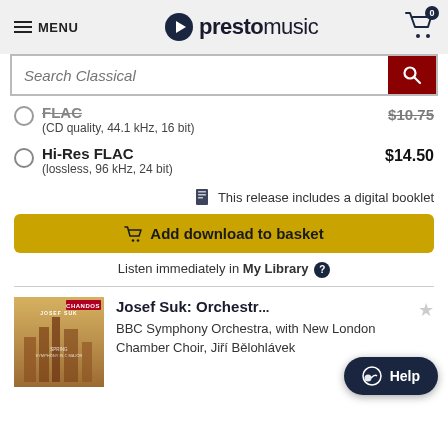MENU | prestomusic | Cart: 0
[Figure (screenshot): Search bar with 'Search Classical' placeholder and dark red search button]
FLAC  $10.75 (CD quality, 44.1 kHz, 16 bit)
Hi-Res FLAC  $14.50 (lossless, 96 kHz, 24 bit)
This release includes a digital booklet
Add download to basket
Listen immediately in My Library ?
Josef Suk: Orchestr... BBC Symphony Orchestra, with New London Chamber Choir, Jiří Bělohlávek